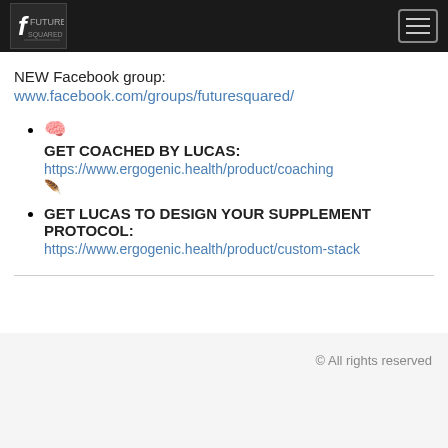Future Squared logo and hamburger menu
NEW Facebook group:
www.facebook.com/groups/futuresquared/
🧠 GET COACHED BY LUCAS: https://www.ergogenic.health/product/coaching
🪶 GET LUCAS TO DESIGN YOUR SUPPLEMENT PROTOCOL: https://www.ergogenic.health/product/custom-stack
© All rights reserved